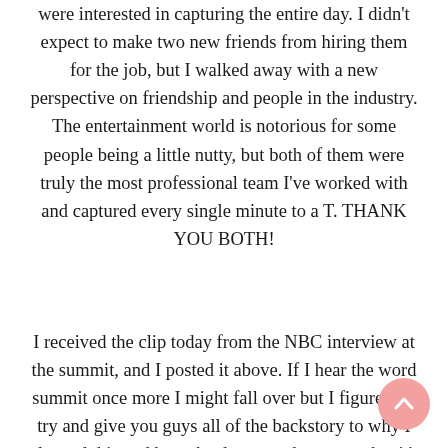were interested in capturing the entire day. I didn't expect to make two new friends from hiring them for the job, but I walked away with a new perspective on friendship and people in the industry. The entertainment world is notorious for some people being a little nutty, but both of them were truly the most professional team I've worked with and captured every single minute to a T. THANK YOU BOTH!
I received the clip today from the NBC interview at the summit, and I posted it above. If I hear the word summit once more I might fall over but I figured I'd try and give you guys all of the backstory to why I planned this and how the day turned out now that it's over! I spoke more about